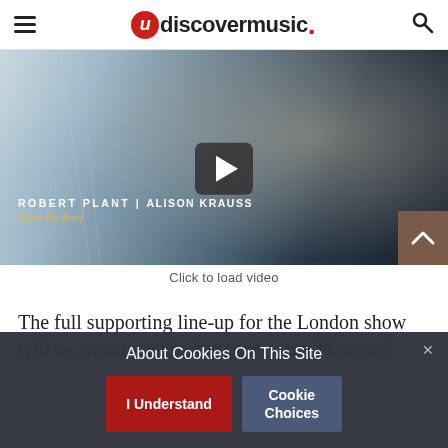udiscovermusic.
[Figure (screenshot): Video thumbnail showing Robert Plant and Alison Krauss album art with a play button overlay. Text on image: ROBERT PLANT | ALISON KRAUSS and stylized album name in gold italic script.]
Click to load video
The full supporting line-up for the London show will be announced in due course, but Plant and
About Cookies On This Site
I Understand
Cookie Choices